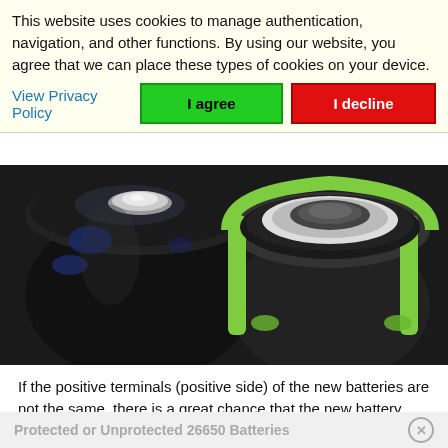This website uses cookies to manage authentication, navigation, and other functions. By using our website, you agree that we can place these types of cookies on your device.
View Privacy Policy
[Figure (photo): Two battery tops side by side: left is a black battery (negative/flat top), right is a green battery (protected, with raised positive terminal). Both photographed from above showing their terminals.]
If the positive terminals (positive side) of the new batteries are not the same, there is a great chance that the new battery simply will not fit the battery compartment or that it will fit, but it will not be able to achieve proper electrical contact.
Protected or Unprotected 26650 Batteries